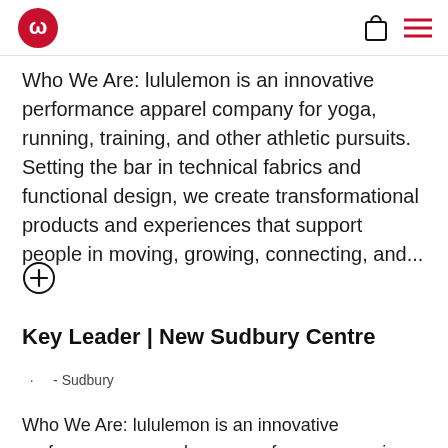lululemon logo, shopping bag icon, menu icon
Who We Are: lululemon is an innovative performance apparel company for yoga, running, training, and other athletic pursuits. Setting the bar in technical fabrics and functional design, we create transformational products and experiences that support people in moving, growing, connecting, and...
[Figure (other): Expand/plus button circle icon]
Key Leader | New Sudbury Centre
· - Sudbury
Who We Are: lululemon is an innovative performance apparel company for yoga, running, training, and other athletic pursuits. Setting the bar in technical fabrics and